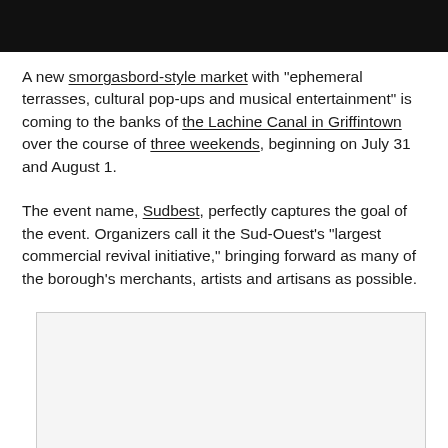A new smorgasbord-style market with "ephemeral terrasses, cultural pop-ups and musical entertainment" is coming to the banks of the Lachine Canal in Griffintown over the course of three weekends, beginning on July 31 and August 1.
The event name, Sudbest, perfectly captures the goal of the event. Organizers call it the Sud-Ouest's "largest commercial revival initiative," bringing forward as many of the borough's merchants, artists and artisans as possible.
[Figure (photo): A light gray rectangular image placeholder with a thin border, partially visible at the bottom of the page.]